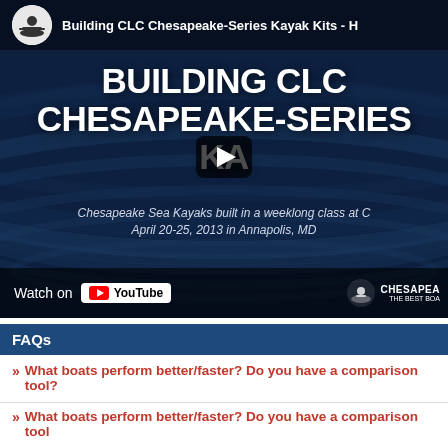[Figure (screenshot): YouTube video thumbnail for 'Building CLC Chesapeake-Series Kayak Kits - H...' showing large white bold text 'BUILDING CLC CHESAPEAKE-SERIES KA...' on dark blue water background, with subtitle 'Chesapeake Sea Kayaks built in a weeklong class at C... April 20-25, 2013 in Annapolis, MD', a play button in center, Watch on YouTube badge bottom left, and Chesapeake boat company logo bottom right.]
FAQs
» What boats perform better/faster? Do you have a comparison tool?
» What boats perform better/faster? Do you have a comparison tool